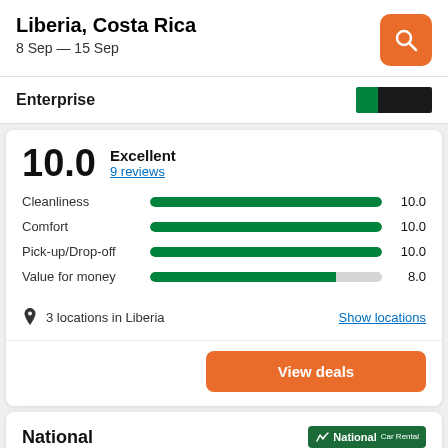Liberia, Costa Rica
8 Sep — 15 Sep
Enterprise
[Figure (bar-chart): Ratings]
10.0 Excellent 9 reviews
3 locations in Liberia
Show locations
View deals
National